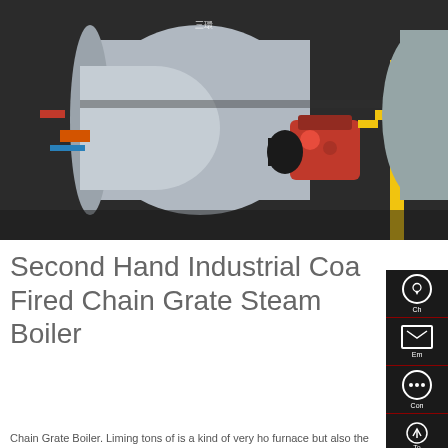[Figure (photo): Industrial coal-fired chain grate steam boiler with red burner unit, yellow gas pipes, and industrial fittings in a factory setting.]
Second Hand Industrial Coal Fired Chain Grate Steam Boiler
Chain Grate Boiler. Liming tons of is a kind of very ho furnace but also the largest customer inquiries today. Xiao Bian gave you to be t m parameters summary ton nace best-selling ton of gas and tons of - learn More. grate coal fired stea boiler
Learn More
Hey, we are live 24/7. How may I help you?
HOT NEWS